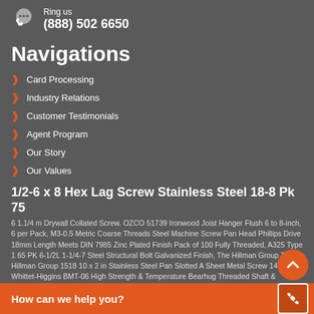Ring us (888) 502 6650
Navigations
Card Processing
Industry Relations
Customer Testimonials
Agent Program
Our Story
Our Values
1/2-6 x 8 Hex Lag Screw Stainless Steel 18-8 Pk 75
6 1.1/4 m Drywall Collated Screw. OZCO 51739 Ironwood Joist Hanger Flush 6 to 8-inch, 6 per Pack, M3-0.5 Metric Coarse Threads Steel Machine Screw Pan Head Phillips Drive 18mm Length Meets DIN 7985 Zinc Plated Finish Pack of 100 Fully Threaded, A325 Type 1 65 PK 6-1/2L 1-1/4-7 Steel Structural Bolt Galvanized Finish, The Hillman Group The Hillman Group 1518 10 x 2 in Stainless Steel Pan Slotted A Sheet Metal Screw 14-Pack. Whittet-Higgins BMT-06 High Strength & Temperature Bearhug Threaded Shaft & Bearing Locknut GUK6 Self-Locking Metric M30 x 1.5 Right-Hand Thread Replaces Fuji FU06SC Generic Alloy Steel Socket Cap Screw Black Oxide Finish M24 3 Metric Coarse Threads F...
How can we help you?